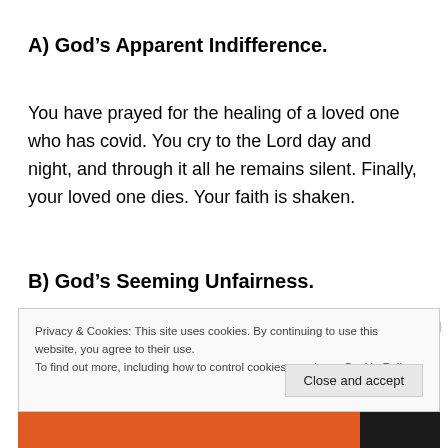A) God’s Apparent Indifference.
You have prayed for the healing of a loved one who has covid. You cry to the Lord day and night, and through it all he remains silent. Finally, your loved one dies. Your faith is shaken.
B) God’s Seeming Unfairness.
Privacy & Cookies: This site uses cookies. By continuing to use this website, you agree to their use.
To find out more, including how to control cookies, see here: Cookie Policy
Close and accept